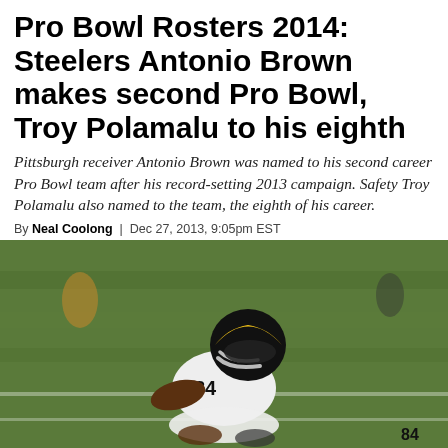Pro Bowl Rosters 2014: Steelers Antonio Brown makes second Pro Bowl, Troy Polamalu to his eighth
Pittsburgh receiver Antonio Brown was named to his second career Pro Bowl team after his record-setting 2013 campaign. Safety Troy Polamalu also named to the team, the eighth of his career.
By Neal Coolong | Dec 27, 2013, 9:05pm EST
[Figure (photo): Pittsburgh Steelers wide receiver #84 Antonio Brown in white uniform and black helmet making a catch or move on the field, shot from low angle on green grass field]